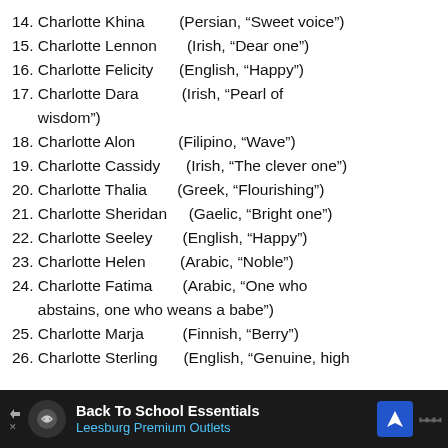14. Charlotte Khina        (Persian, “Sweet voice”)
15. Charlotte Lennon        (Irish, “Dear one”)
16. Charlotte Felicity       (English, “Happy”)
17. Charlotte Dara           (Irish, “Pearl of
      wisdom”)
18. Charlotte Alon           (Filipino, “Wave”)
19. Charlotte Cassidy        (Irish, “The clever one”)
20. Charlotte Thalia         (Greek, “Flourishing”)
21. Charlotte Sheridan       (Gaelic, “Bright one”)
22. Charlotte Seeley         (English, “Happy”)
23. Charlotte Helen          (Arabic, “Noble”)
24. Charlotte Fatima         (Arabic, “One who
      abstains, one who weans a babe”)
25. Charlotte Marja          (Finnish, “Berry”)
26. Charlotte Sterling       (English, “Genuine, high
[Figure (other): Advertisement banner for Leesburg Premium Outlets Back To School Essentials]